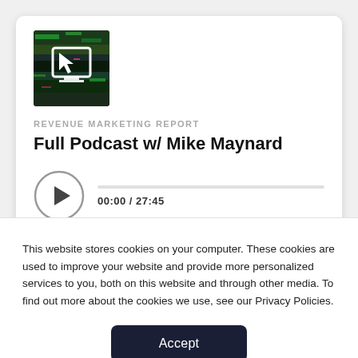[Figure (screenshot): Podcast thumbnail image with dark background featuring a white arrow/cursor icon on a digital/glitch style graphic]
REVENUE MARKETING REPORT
Full Podcast w/ Mike Maynard
[Figure (other): Audio player with circular play button and progress bar showing 00:00 / 27:45]
This website stores cookies on your computer. These cookies are used to improve your website and provide more personalized services to you, both on this website and through other media. To find out more about the cookies we use, see our Privacy Policies.
Accept